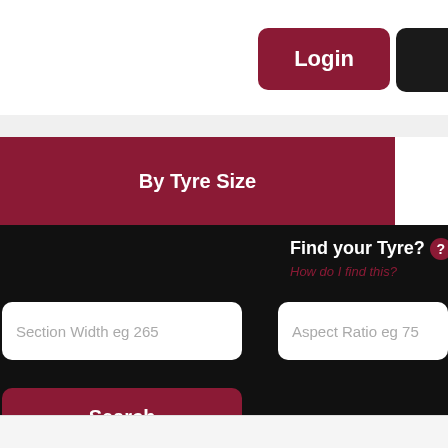[Figure (screenshot): Website navigation bar with Login button (dark red/maroon) and a black button partially visible on the right]
By Tyre Size
Find your Tyre? How do I find this?
Section Width eg 265
Aspect Ratio eg 75
Search